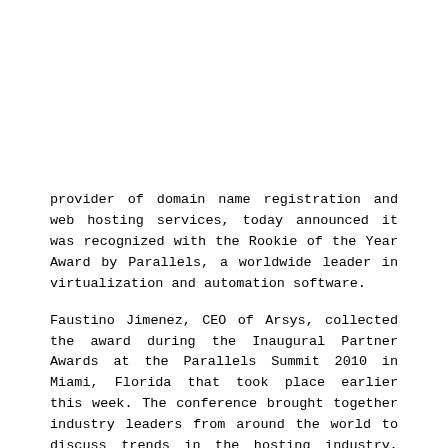provider of domain name registration and web hosting services, today announced it was recognized with the Rookie of the Year Award by Parallels, a worldwide leader in virtualization and automation software.
Faustino Jimenez, CEO of Arsys, collected the award during the Inaugural Partner Awards at the Parallels Summit 2010 in Miami, Florida that took place earlier this week. The conference brought together industry leaders from around the world to discuss trends in the hosting industry, such as cloud computing, cloud hosting and IAAS (Infrastructure as a Service).
The Parallels Rookie of the Year Award